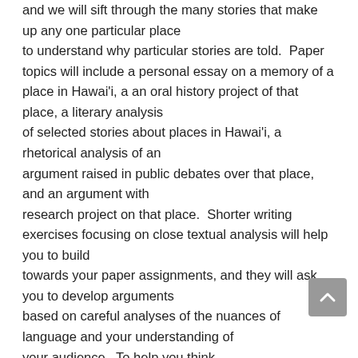and we will sift through the many stories that make up any one particular place to understand why particular stories are told.  Paper topics will include a personal essay on a memory of a place in Hawai'i, a an oral history project of that place, a literary analysis of selected stories about places in Hawai'i, a rhetorical analysis of an argument raised in public debates over that place, and an argument with research project on that place.  Shorter writing exercises focusing on close textual analysis will help you to build towards your paper assignments, and they will ask you to develop arguments based on careful analyses of the nuances of language and your understanding of your audience.  To help you think about strategic ways of writing for specific audiences, you